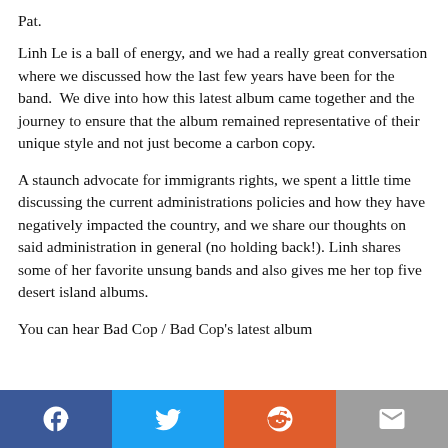Pat.
Linh Le is a ball of energy, and we had a really great conversation where we discussed how the last few years have been for the band.  We dive into how this latest album came together and the journey to ensure that the album remained representative of their unique style and not just become a carbon copy.
A staunch advocate for immigrants rights, we spent a little time discussing the current administrations policies and how they have negatively impacted the country, and we share our thoughts on said administration in general (no holding back!). Linh shares some of her favorite unsung bands and also gives me her top five desert island albums.
You can hear Bad Cop / Bad Cop's latest album
[Figure (other): Social share bar with four buttons: Facebook (blue), Twitter (light blue), Reddit (orange-red), Email (gray)]